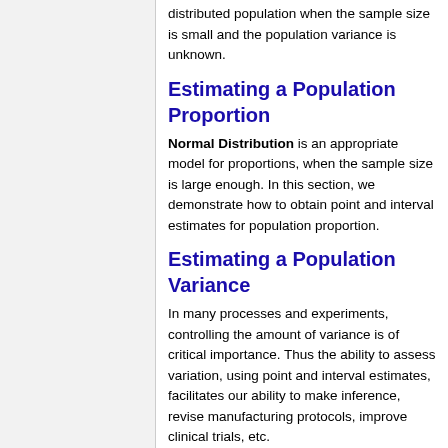distributed population when the sample size is small and the population variance is unknown.
Estimating a Population Proportion
Normal Distribution is an appropriate model for proportions, when the sample size is large enough. In this section, we demonstrate how to obtain point and interval estimates for population proportion.
Estimating a Population Variance
In many processes and experiments, controlling the amount of variance is of critical importance. Thus the ability to assess variation, using point and interval estimates, facilitates our ability to make inference, revise manufacturing protocols, improve clinical trials, etc.
Confidence Intervals Activity
This activity demonstrates the usage and functionality of SOCR General Confidence